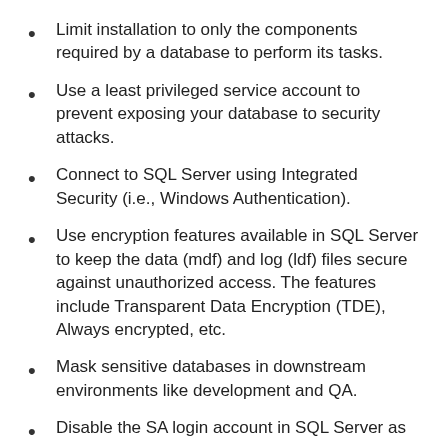Limit installation to only the components required by a database to perform its tasks.
Use a least privileged service account to prevent exposing your database to security attacks.
Connect to SQL Server using Integrated Security (i.e., Windows Authentication).
Use encryption features available in SQL Server to keep the data (mdf) and log (ldf) files secure against unauthorized access. The features include Transparent Data Encryption (TDE), Always encrypted, etc.
Mask sensitive databases in downstream environments like development and QA.
Disable the SA login account in SQL Server as